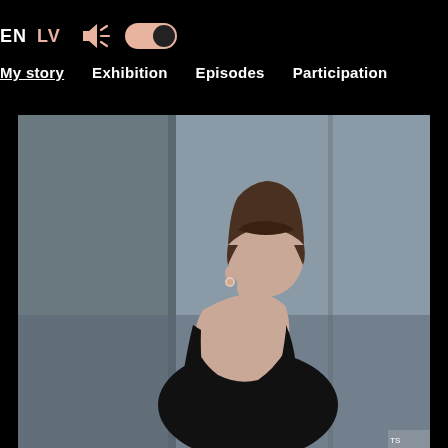EN LV [speaker icon] [toggle]
My story
Exhibition
Episodes
Participation
[Figure (photo): A woman with a short brown bowl-cut hairstyle, wearing a black backless dress, photographed from behind against a grey concrete wall background. She is looking slightly to the side.]